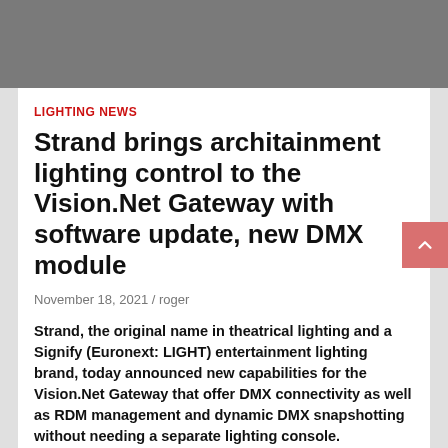[Figure (photo): Gray header banner at top of page]
LIGHTING NEWS
Strand brings architainment lighting control to the Vision.Net Gateway with software update, new DMX module
November 18, 2021 / roger
Strand, the original name in theatrical lighting and a Signify (Euronext: LIGHT) entertainment lighting brand, today announced new capabilities for the Vision.Net Gateway that offer DMX connectivity as well as RDM management and dynamic DMX snapshotting without needing a separate lighting console.
“As LED architectural lighting has become more advanced